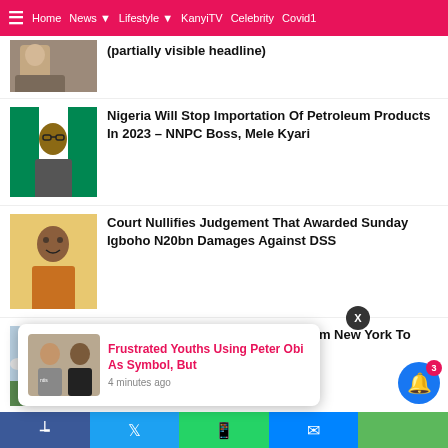≡  Home  News ▾  Lifestyle ▾  KanyiTV  Celebrity  Covid1
[Figure (screenshot): Partially visible thumbnail of a person]
(partially visible headline at top)
[Figure (photo): Photo of a man speaking]
Nigeria Will Stop Importation Of Petroleum Products In 2023 – NNPC Boss, Mele Kyari
[Figure (photo): Photo of Sunday Igboho]
Court Nullifies Judgement That Awarded Sunday Igboho N20bn Damages Against DSS
[Figure (photo): Photo of Delta Airlines plane]
Delta Airline Suspends Flights From New York To Lagos
[Figure (photo): Partially visible thumbnail]
…ike 'After …otiations With
[Figure (screenshot): Notification popup with photo of two men]
Frustrated Youths Using Peter Obi As Symbol, But
4 minutes ago
Facebook  Twitter  WhatsApp  Messenger  (share buttons)